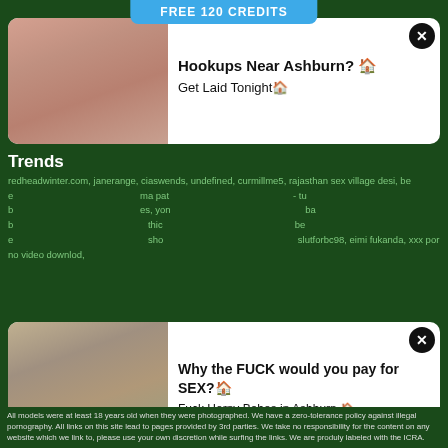FREE 120 CREDITS
[Figure (photo): Advertisement card 1 with photo and text: Hookups Near Ashburn? Get Laid Tonight]
Hookups Near Ashburn? 🏠
Get Laid Tonight🏠
Trends
redheadwinter.com, janerange, ciaswends, undefined, curmillme5, rajasthan sex village desi, beer, patil, tub, yon, bab, thic, bee, sho, slutforbc98, eimi fukanda, xxx porno video downlod,
[Figure (photo): Advertisement card 2 with photo and text: Why the FUCK would you pay for SEX? Fuck Horny Babes in Ashburn]
Why the FUCK would you pay for SEX?🏠
Fuck Horny Babes in Ashburn 🏠
Enjoy RedTube Action on redtube.world
Revisit US tomorrow for FRESH porn movies, just press Ctrl + D to BOOKMARK US!
sex cam
katawa shoujo r34, huge cock penetration, interracial ass porn, hot wife cuckold sex, hott latinas, jenny rivera xvideos, Anal Sex Videos, Xhamster, got.sex, youporn.today, xvideos, Xxxx
All models were at least 18 years old when they were photographed. We have a zero-tolerance policy against illegal pornography. All links on this site lead to pages provided by 3rd parties. We take no responsibility for the content on any website which we link to, please use your own discretion while surfing the links. We are produly labeled with the ICRA.